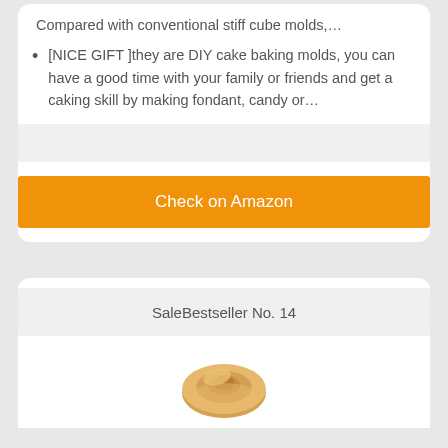Compared with conventional stiff cube molds,…
[NICE GIFT ]they are DIY cake baking molds, you can have a good time with your family or friends and get a caking skill by making fondant, candy or…
[Figure (other): Gray placeholder bar]
Check on Amazon
SaleBestseller No. 14
[Figure (photo): Partial photo of a bread/donut shaped baked good product]